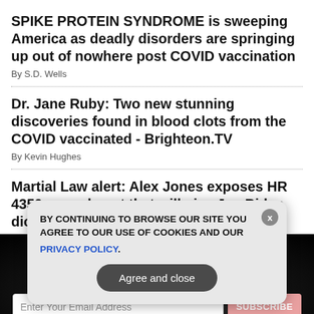SPIKE PROTEIN SYNDROME is sweeping America as deadly disorders are springing up out of nowhere post COVID vaccination
By S.D. Wells
Dr. Jane Ruby: Two new stunning discoveries found in blood clots from the COVID vaccinated - Brighteon.TV
By Kevin Hughes
Martial Law alert: Alex Jones exposes HR 4350 amendment that will give Joe Biden dictatorial powers
GET THE #1 MOST-INDEPENDENT MEDIA NEWSLETTER DELIVERED STRAIGHT TO YOUR INBOX.
Enter Your Email Address
SUBSCRIBE
BY CONTINUING TO BROWSE OUR SITE YOU AGREE TO OUR USE OF COOKIES AND OUR PRIVACY POLICY.
Agree and close